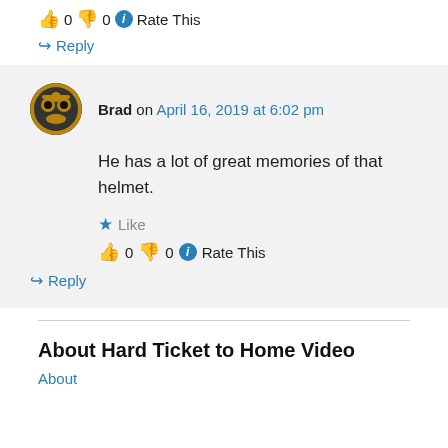👍 0 👎 0 ℹ Rate This
↪ Reply
Brad on April 16, 2019 at 6:02 pm
He has a lot of great memories of that helmet.
★ Like
👍 0 👎 0 ℹ Rate This
↪ Reply
About Hard Ticket to Home Video
About